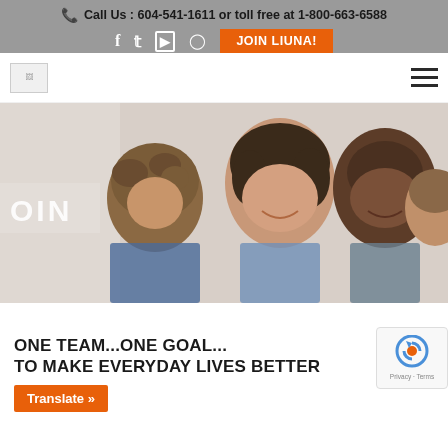Call Us : 604-541-1611 or toll free at 1-800-663-6588
[Figure (screenshot): Social media icons (Facebook, Twitter, YouTube, Instagram) and JOIN LIUNA! orange button]
[Figure (logo): LIUNA website logo placeholder]
[Figure (photo): Happy smiling family with two children and two adults, hero banner image with text OIN (partial JOIN) overlay]
ONE TEAM...ONE GOAL... TO MAKE EVERYDAY LIVES BETTER
[Figure (other): reCAPTCHA badge with Privacy - Terms text]
Translate »